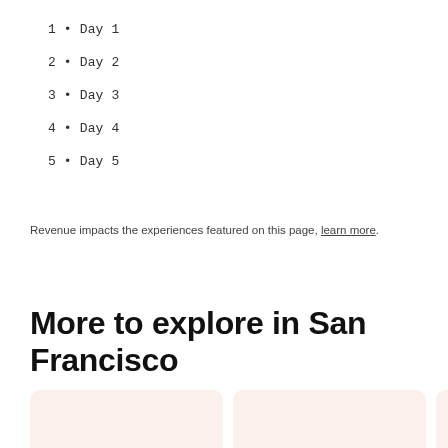1 • Day 1
2 • Day 2
3 • Day 3
4 • Day 4
5 • Day 5
Revenue impacts the experiences featured on this page, learn more.
More to explore in San Francisco
[Figure (other): Three card placeholders with light pink/cream background, partially visible, arranged horizontally.]